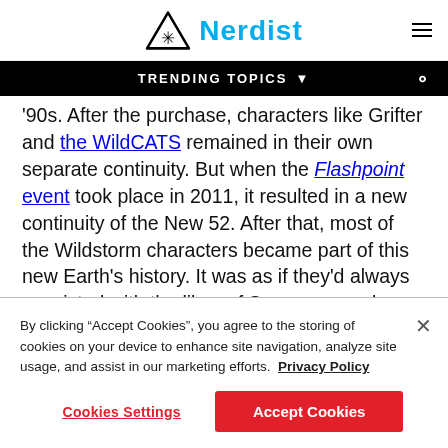Nerdist
TRENDING TOPICS
'90s. After the purchase, characters like Grifter and the WildCATS remained in their own separate continuity. But when the Flashpoint event took place in 2011, it resulted in a new continuity of the New 52. After that, most of the Wildstorm characters became part of this new Earth's history. It was as if they'd always coexisted with the likes of Superman and Wonder Woman.
By clicking “Accept Cookies”, you agree to the storing of cookies on your device to enhance site navigation, analyze site usage, and assist in our marketing efforts. Privacy Policy
Cookies Settings
Accept Cookies